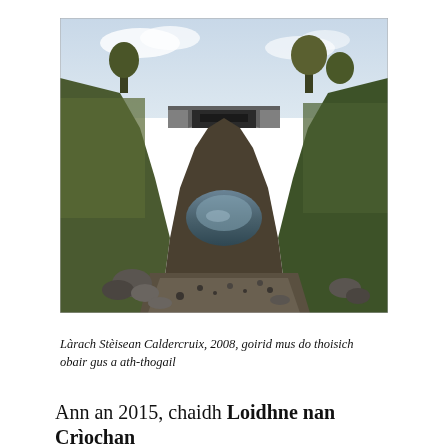[Figure (photo): A photograph of Caldercruix Station site in 2008, showing a disused railway cutting with a bridge in the background, waterlogged ground, gravel, rocks, and vegetation on either side.]
Làrach Stèisean Caldercruix, 2008, goirid mus do thoisich obair gus a ath-thogail
Ann an 2015, chaidh Loidhne nan Crìochan